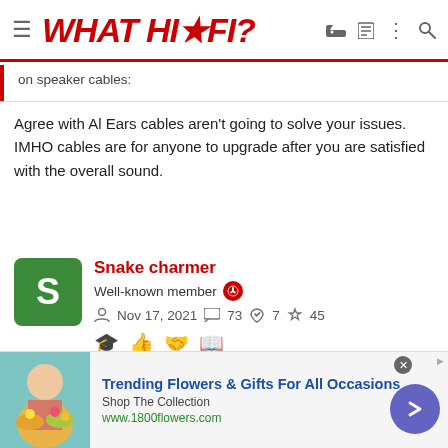WHAT HI*FI?
on speaker cables:
Agree with Al Ears cables aren't going to solve your issues. IMHO cables are for anyone to upgrade after you are satisfied with the overall sound.
Snake charmer
Well-known member
Nov 17, 2021  73  7  45
May 17, 2022  #20
Hi, makes sense, have played more around with the positioning
[Figure (screenshot): Advertisement banner for 1800flowers.com: Trending Flowers & Gifts For All Occasions. Shop The Collection. www.1800flowers.com]